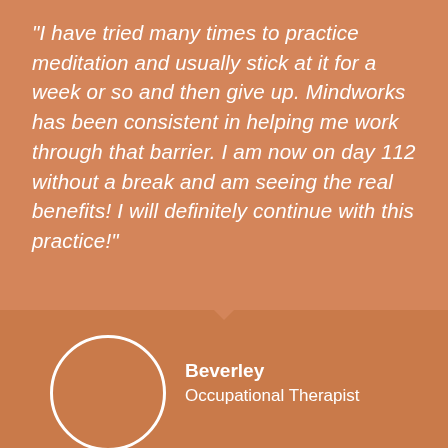"I have tried many times to practice meditation and usually stick at it for a week or so and then give up. Mindworks has been consistent in helping me work through that barrier. I am now on day 112 without a break and am seeing the real benefits! I will definitely continue with this practice!"
[Figure (illustration): White circle outline representing an avatar/profile photo placeholder on an orange background]
Beverley
Occupational Therapist